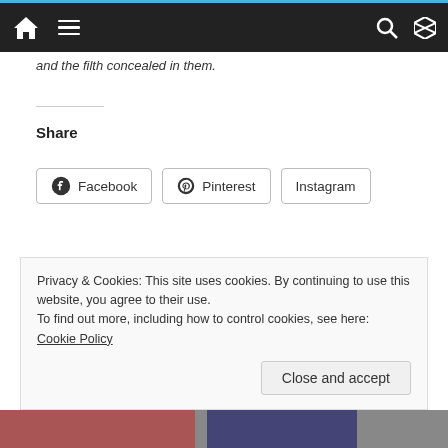Navigation bar with home, menu, search, and shuffle icons
and the filth concealed in them.
Share
Facebook  Pinterest  Instagram
Like this:
Loading...
Privacy & Cookies: This site uses cookies. By continuing to use this website, you agree to their use.
To find out more, including how to control cookies, see here: Cookie Policy
Close and accept